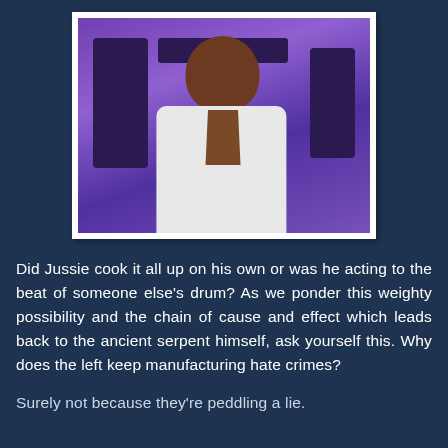[Figure (photo): Photo of a smiling man in a white shirt with an open collar against a purple background]
Did Jussie cook it all up on his own or was he acting to the beat of someone else's drum? As we ponder this weighty possibility and the chain of cause and effect which leads back to the ancient serpent himself, ask yourself this. Why does the left keep manufacturing hate crimes?
Surely not because they're peddling a lie.